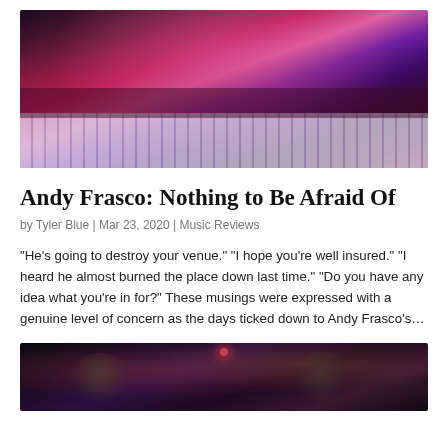[Figure (photo): Concert photo: performer standing on piano/keyboard instrument, playing to crowd with pink and purple stage lighting]
Andy Frasco: Nothing to Be Afraid Of
by Tyler Blue | Mar 23, 2020 | Music Reviews
"He's going to destroy your venue." "I hope you're well insured." "I heard he almost burned the place down last time." "Do you have any idea what you're in for?" These musings were expressed with a genuine level of concern as the days ticked down to Andy Frasco's...
[Figure (photo): Concert photo: two performers on stage with dark background and colored stage lighting]